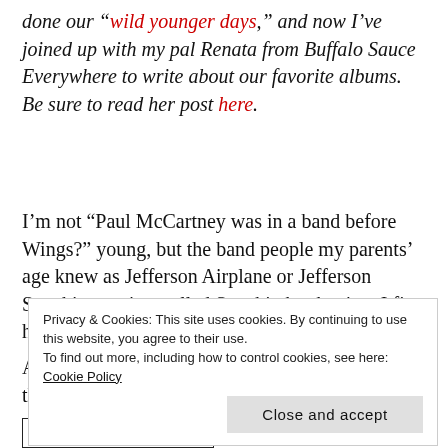done our “wild younger days,” and now I’ve joined up with my pal Renata from Buffalo Sauce Everywhere to write about our favorite albums. Be sure to read her post here.
I’m not “Paul McCartney was in a band before Wings?” young, but the band people my parents’ age knew as Jefferson Airplane or Jefferson Starship was just called Starship by the time I first heard of them.
And that’s due to one album … “Knee Deep in the
Privacy & Cookies: This site uses cookies. By continuing to use this website, you agree to their use.
To find out more, including how to control cookies, see here: Cookie Policy

Close and accept
[Figure (other): Bottom edge of an image/thumbnail stub]